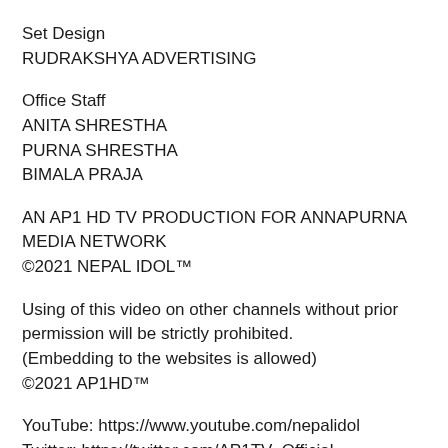Set Design
RUDRAKSHYA ADVERTISING
Office Staff
ANITA SHRESTHA
PURNA SHRESTHA
BIMALA PRAJA
AN AP1 HD TV PRODUCTION FOR ANNAPURNA MEDIA NETWORK
©2021 NEPAL IDOL™
Using of this video on other channels without prior permission will be strictly prohibited.
(Embedding to the websites is allowed)
©2021 AP1HD™
YouTube: https://www.youtube.com/nepalidol
Twitter: https://twitter.com/AP1TV_Official